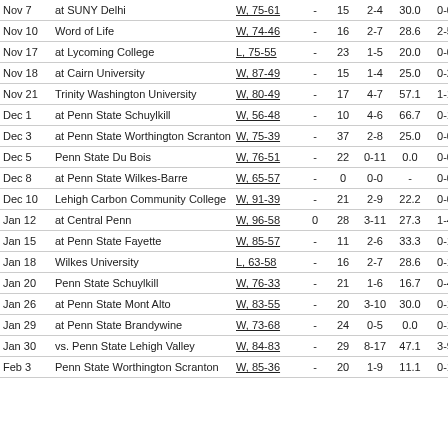| Date | Opponent | Score |  |  |  |  |  |
| --- | --- | --- | --- | --- | --- | --- | --- |
| Nov 7 | at SUNY Delhi | W, 75-61 | - | 15 | 2-4 | 30.0 | 0-0 |
| Nov 10 | Word of Life | W, 74-46 | - | 16 | 2-7 | 28.6 | 2-5 |
| Nov 17 | at Lycoming College | L, 75-55 | - | 23 | 1-5 | 20.0 | 0-0 |
| Nov 18 | at Cairn University | W, 87-49 | - | 15 | 1-4 | 25.0 | 0-2 |
| Nov 21 | Trinity Washington University | W, 80-49 | - | 17 | 4-7 | 57.1 | 1-1 |
| Dec 1 | at Penn State Schuylkill | W, 56-48 | - | 10 | 4-6 | 66.7 | 0-1 |
| Dec 3 | at Penn State Worthington Scranton | W, 75-39 | - | 37 | 2-8 | 25.0 | 0-0 |
| Dec 5 | Penn State Du Bois | W, 76-51 | - | 22 | 0-11 | 0.0 | 0-0 |
| Dec 8 | at Penn State Wilkes-Barre | W, 65-57 | - | 0 | 0-0 | - | 0-0 |
| Dec 10 | Lehigh Carbon Community College | W, 91-39 | - | 21 | 2-9 | 22.2 | 0-0 |
| Jan 12 | at Central Penn | W, 96-58 | 0 | 28 | 3-11 | 27.3 | 1-4 |
| Jan 15 | at Penn State Fayette | W, 85-57 | - | 11 | 2-6 | 33.3 | 0-1 |
| Jan 18 | Wilkes University | L, 63-58 | - | 16 | 2-7 | 28.6 | 0-1 |
| Jan 20 | Penn State Schuylkill | W, 76-33 | - | 21 | 1-6 | 16.7 | 0-4 |
| Jan 26 | at Penn State Mont Alto | W, 83-55 | - | 20 | 3-10 | 30.0 | 0-1 |
| Jan 29 | at Penn State Brandywine | W, 73-68 | - | 24 | 0-5 | 0.0 | 0-1 |
| Jan 30 | vs. Penn State Lehigh Valley | W, 84-83 | - | 29 | 8-17 | 47.1 | 3-9 |
| Feb 3 | Penn State Worthington Scranton | W, 85-36 | - | 20 | 1-9 | 11.1 | 0-1 |